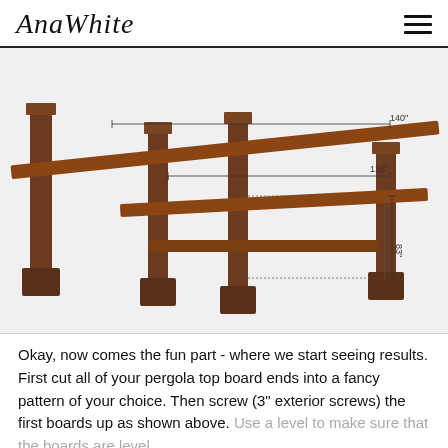AnaWhite
[Figure (engineering-diagram): 3D perspective engineering diagram of a pergola frame showing wooden posts and horizontal boards with dimension annotations: 140", 116", and 83"]
Okay, now comes the fun part - where we start seeing results. First cut all of your pergola top board ends into a fancy pattern of your choice. Then screw (3" exterior screws) the first boards up as shown above. Use a level to make sure that the boards are level.